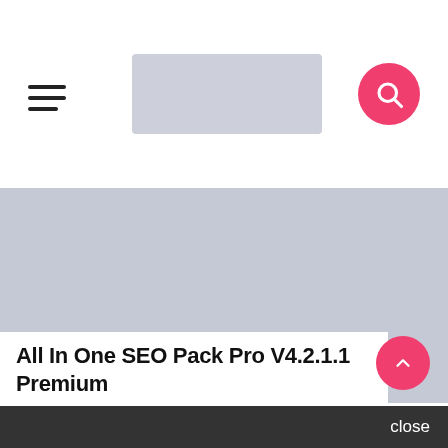Navigation header with hamburger menu, logo placeholder, and search button
[Figure (screenshot): Large hero image placeholder (light blue-grey rectangle) with a purple stats badge showing comment count 0, fire/trending count 0, and clock/time count 4]
All In One SEO Pack Pro V4.2.1.1 Premium